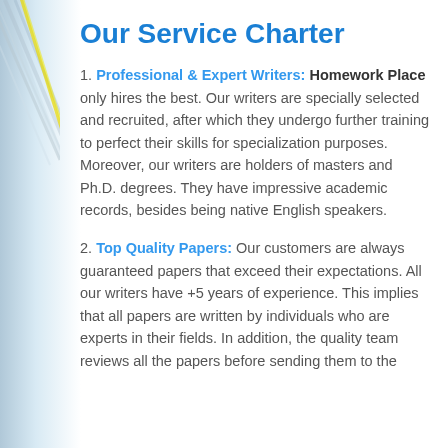Our Service Charter
1. Professional & Expert Writers: Homework Place only hires the best. Our writers are specially selected and recruited, after which they undergo further training to perfect their skills for specialization purposes. Moreover, our writers are holders of masters and Ph.D. degrees. They have impressive academic records, besides being native English speakers.
2. Top Quality Papers: Our customers are always guaranteed papers that exceed their expectations. All our writers have +5 years of experience. This implies that all papers are written by individuals who are experts in their fields. In addition, the quality team reviews all the papers before sending them to the